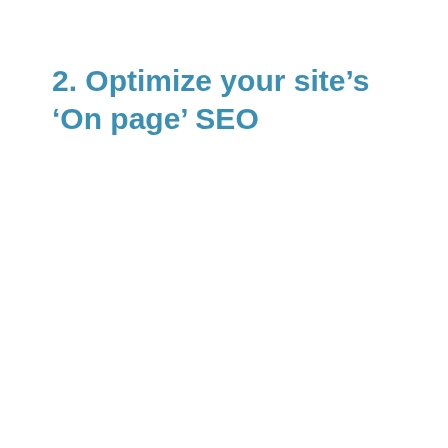2. Optimize your site’s ‘On page’ SEO